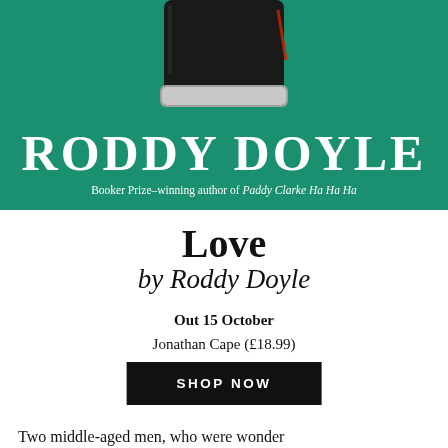[Figure (photo): Book cover image with green background showing a dark glass jar at top, bold white text 'RODDY DOYLE' and subtitle 'Booker Prize-winning author of Paddy Clarke Ha Ha Ha']
Love
by Roddy Doyle
Out 15 October
Jonathan Cape (£18.99)
SHOP NOW
Two middle-aged men, who were wonder